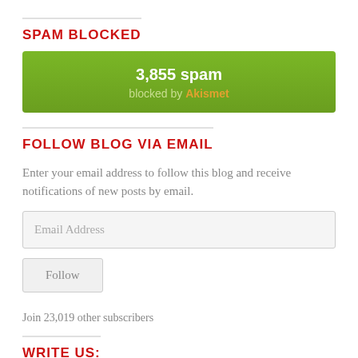SPAM BLOCKED
[Figure (infographic): Green box showing '3,855 spam blocked by Akismet']
FOLLOW BLOG VIA EMAIL
Enter your email address to follow this blog and receive notifications of new posts by email.
Email Address
Follow
Join 23,019 other subscribers
WRITE US: